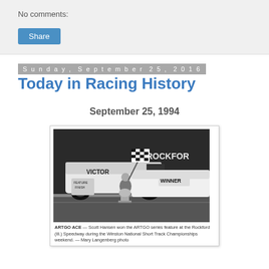No comments:
Share
Sunday, September 25, 2016
Today in Racing History
September 25, 1994
[Figure (photo): Black and white photo of a racing scene. A person holds a large checkered flag in front of race cars. One car has 'VICTOR' on its side, another reads 'WINNER'. A sign in background reads 'ROCKFOR' (Rockford). Feature finish sign visible.]
ARTGO ACE — Scott Hansen won the ARTGO series feature at the Rockford (Ill.) Speedway during the Winston National Short Track Championships weekend. — Mary Langenberg photo